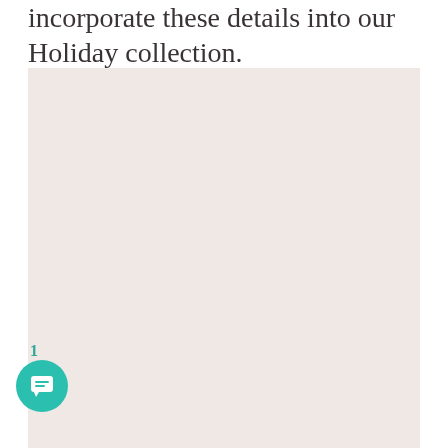incorporate these details into our Holiday collection.
[Figure (illustration): Large blush/rose-toned rectangular image area with a flat pinkish-beige background color, serving as a placeholder or product image space.]
1